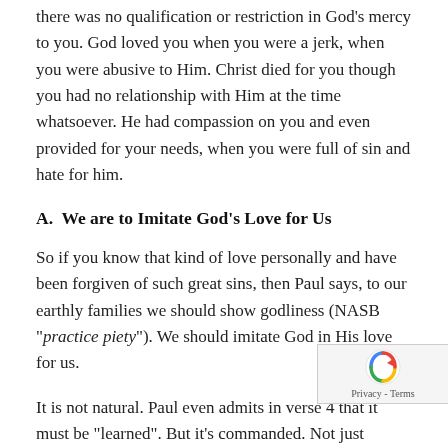there was no qualification or restriction in God's mercy to you. God loved you when you were a jerk, when you were abusive to Him. Christ died for you though you had no relationship with Him at the time whatsoever. He had compassion on you and even provided for your needs, when you were full of sin and hate for him.
A.  We are to Imitate God's Love for Us
So if you know that kind of love personally and have been forgiven of such great sins, then Paul says, to our earthly families we should show godliness (NASB “practice piety”). We should imitate God in His love for us.
It is not natural. Paul even admits in verse 4 that it must be “learned”. But it’s commanded. Not just towards believing parents, but towards every pa He doesn’t even restrict these responsibilities to Christian kids and grandkids, but is saying that we all